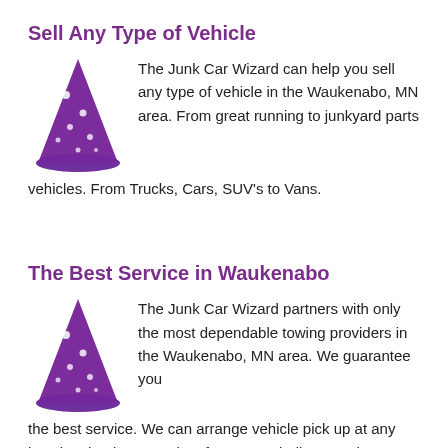Sell Any Type of Vehicle
[Figure (illustration): Purple wizard hat with stars]
The Junk Car Wizard can help you sell any type of vehicle in the Waukenabo, MN area. From great running to junkyard parts vehicles. From Trucks, Cars, SUV's to Vans.
The Best Service in Waukenabo
[Figure (illustration): Purple wizard hat with stars]
The Junk Car Wizard partners with only the most dependable towing providers in the Waukenabo, MN area. We guarantee you the best service. We can arrange vehicle pick up at any location that is convenient for you. Including your home,